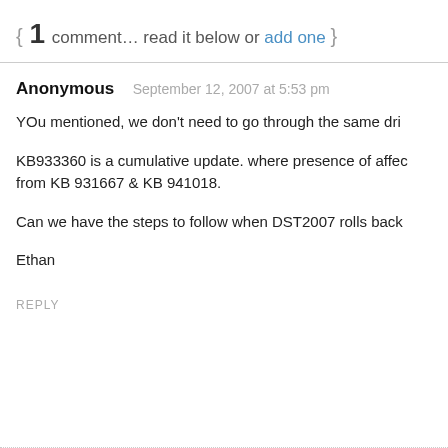{ 1 comment… read it below or add one }
Anonymous   September 12, 2007 at 5:53 pm
YOu mentioned, we don't need to go through the same dri
KB933360 is a cumulative update. where presence of affe from KB 931667 & KB 941018.
Can we have the steps to follow when DST2007 rolls back
Ethan
REPLY